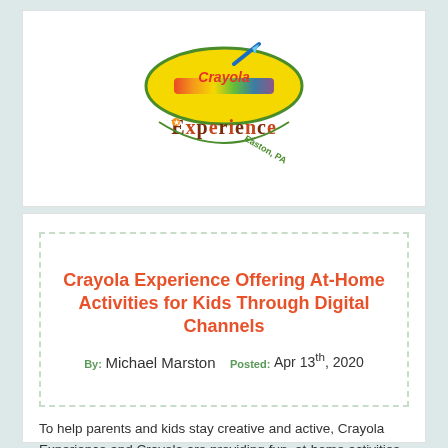[Figure (logo): Crayola Experience logo with crayon graphic and 'Easton, PA' text]
Crayola Experience Offering At-Home Activities for Kids Through Digital Channels
By: Michael Marston   Posted: Apr 13th, 2020
To help parents and kids stay creative and active, Crayola Experience and Crayola are providing fun, at-home activities through our websites and social channels. Parents can download free step-by-step crafting instructions, coloring pages, games, apps, and colorful